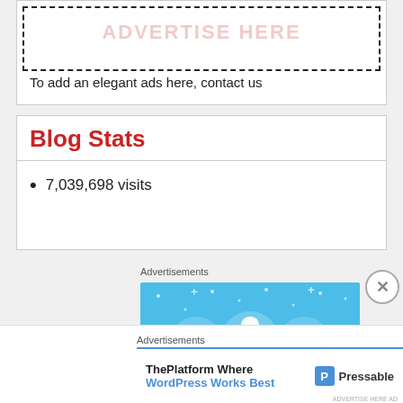[Figure (other): Advertise Here placeholder box with dashed border and pink watermark text 'ADVERTISE HERE']
To add an elegant ads here, contact us
Blog Stats
7,039,698 visits
Advertisements
[Figure (illustration): Blue advertisement banner with three circular icons representing web/tech services]
Advertisements
[Figure (logo): Pressable WordPress advertisement: 'ThePlatform Where WordPress Works Best' with Pressable logo]